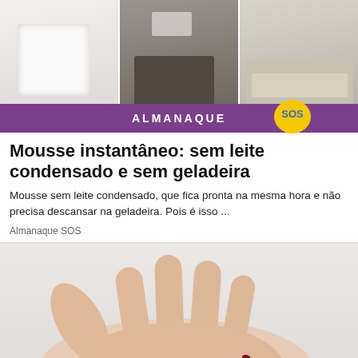[Figure (photo): Three-panel photo strip showing mousse preparation steps: white cream in container, mixing in dark pan, finished mousse in baking dish]
ALMANAQUE SOS
Mousse instantâneo: sem leite condensado e sem geladeira
Mousse sem leite condensado, que fica pronta na mesma hora e não precisa descansar na geladeira. Pois é isso ...
Almanaque SOS
[Figure (photo): Open hand holding small red/dark seeds or berries on a light background, with a reCAPTCHA badge in the lower right corner]